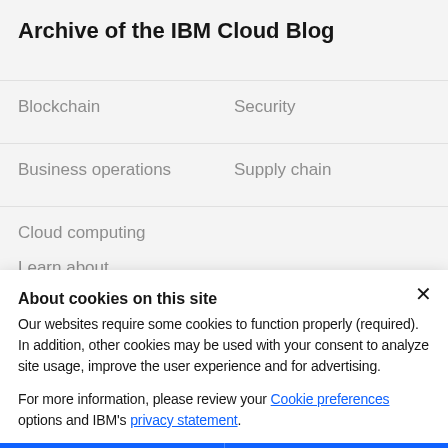Archive of the IBM Cloud Blog
Blockchain
Security
Business operations
Supply chain
Cloud computing
Learn about
About cookies on this site
Our websites require some cookies to function properly (required). In addition, other cookies may be used with your consent to analyze site usage, improve the user experience and for advertising.
For more information, please review your Cookie preferences options and IBM's privacy statement.
Required only
Accept all